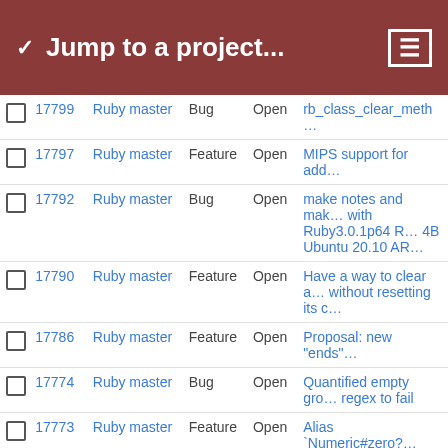Jump to a project...
|  | ID | Project | Type | Status | Description |
| --- | --- | --- | --- | --- | --- |
|  | 17799 | Ruby master | Bug | Open | rb_class_clear_meth… |
|  | 17797 | Ruby master | Feature | Open | MIPS support for add… |
|  | 17792 | Ruby master | Bug | Open | make notes and mak… with Ruby3.0.1p64 R… 4B Ubuntu 20.10 AR… |
|  | 17790 | Ruby master | Feature | Open | Have a way to clear a… without resetting its c… |
|  | 17786 | Ruby master | Feature | Open | Proposal: new "ends"… |
|  | 17774 | Ruby master | Bug | Open | Quantified empty gro… regex to fail |
|  | 17773 | Ruby master | Feature | Open | Alias `Numeric#zero?… `Float#zero?` as `Numeric#empty?` ar… `Float#empty?` |
|  | 17771 | Ruby master | Feature | Open | String#start_with? sh… construct MatchData… |
|  | 17758 | Ruby master | Feature | Open | Provide Hash#count… performance improve… |
|  | 17753 | Ruby master | Feature | Open | Add Module#namesp… |
|  | 17749 | Ruby master | Feature | Open | Const source location… name |